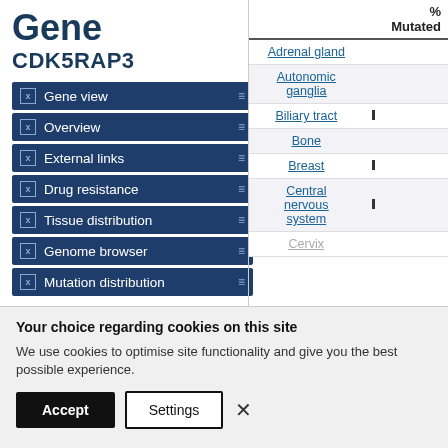Gene
CDK5RAP3
Gene view
Overview
External links
Drug resistance
Tissue distribution
Genome browser
Mutation distribution
|  | % Mutated |
| --- | --- |
| Adrenal gland |  |
| Autonomic ganglia |  |
| Biliary tract | ▪ |
| Bone |  |
| Breast | ▪ |
| Central nervous system | ▪ |
| Cervix |  |
Your choice regarding cookies on this site
We use cookies to optimise site functionality and give you the best possible experience.